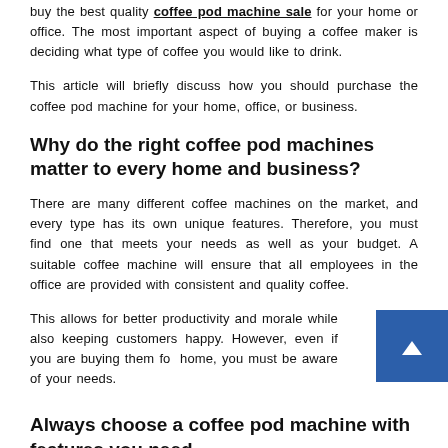buy the best quality coffee pod machine sale for your home or office. The most important aspect of buying a coffee maker is deciding what type of coffee you would like to drink.
This article will briefly discuss how you should purchase the coffee pod machine for your home, office, or business.
Why do the right coffee pod machines matter to every home and business?
There are many different coffee machines on the market, and every type has its own unique features. Therefore, you must find one that meets your needs as well as your budget. A suitable coffee machine will ensure that all employees in the office are provided with consistent and quality coffee.
This allows for better productivity and morale while also keeping customers happy. However, even if you are buying them for home, you must be aware of your needs.
Always choose a coffee pod machine with features you need